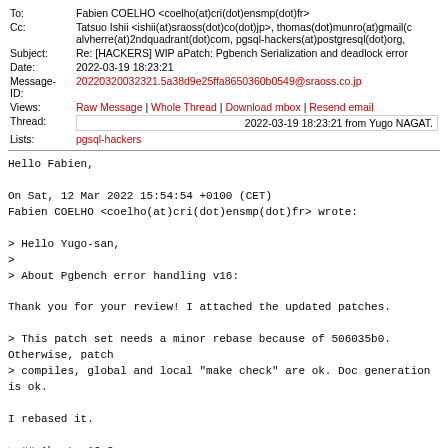| To: | Fabien COELHO <coelho(at)cri(dot)ensmp(dot)fr> |
| Cc: | Tatsuo Ishii <ishii(at)sraoss(dot)co(dot)jp>, thomas(dot)munro(at)gmail(c
alvherre(at)2ndquadrant(dot)com, pgsql-hackers(at)postgresql(dot)org, |
| Subject: | Re: [HACKERS] WIP aPatch: Pgbench Serialization and deadlock error |
| Date: | 2022-03-19 18:23:21 |
| Message-ID: | 20220320032321.5a38d9e25ffa8650360b0549@sraoss.co.jp |
| Views: | Raw Message | Whole Thread | Download mbox | Resend email |
| Thread: | 2022-03-19 18:23:21 from Yugo NAGAT... |
| Lists: | pgsql-hackers |
Hello Fabien,

On Sat, 12 Mar 2022 15:54:54 +0100 (CET)
Fabien COELHO <coelho(at)cri(dot)ensmp(dot)fr> wrote:

> Hello Yugo-san,
>
> About Pgbench error handling v16:

Thank you for your review! I attached the updated patches.

> This patch set needs a minor rebase because of 506035b0. Otherwise, patch
> compiles, global and local "make check" are ok. Doc generation is ok.

I rebased it.

> ## About v16-2

> English: "he will be aborted" -> "it will be aborted".

Fixed.